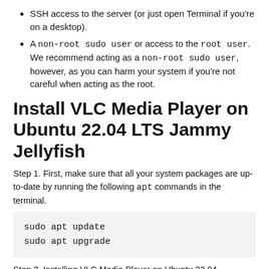SSH access to the server (or just open Terminal if you're on a desktop).
A non-root sudo user or access to the root user. We recommend acting as a non-root sudo user, however, as you can harm your system if you're not careful when acting as the root.
Install VLC Media Player on Ubuntu 22.04 LTS Jammy Jellyfish
Step 1. First, make sure that all your system packages are up-to-date by running the following apt commands in the terminal.
Step 2. Installing VLC Media Player on Ubuntu 22.04.
Install VLC from Official Repository: